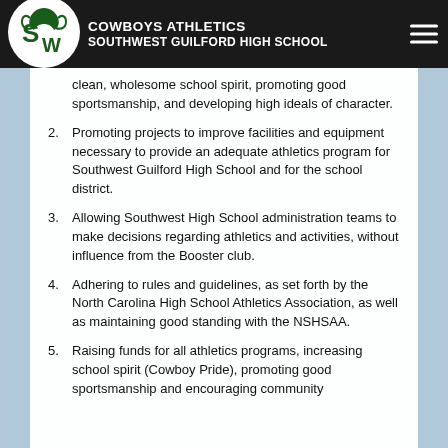COWBOYS ATHLETICS SOUTHWEST GUILFORD HIGH SCHOOL
clean, wholesome school spirit, promoting good sportsmanship, and developing high ideals of character.
2. Promoting projects to improve facilities and equipment necessary to provide an adequate athletics program for Southwest Guilford High School and for the school district.
3. Allowing Southwest High School administration teams to make decisions regarding athletics and activities, without influence from the Booster club.
4. Adhering to rules and guidelines, as set forth by the North Carolina High School Athletics Association, as well as maintaining good standing with the NSHSAA.
5. Raising funds for all athletics programs, increasing school spirit (Cowboy Pride), promoting good sportsmanship and encouraging community